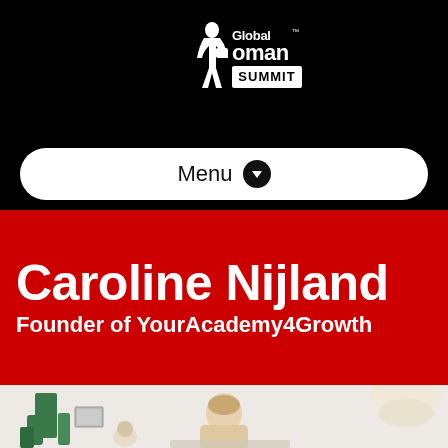[Figure (logo): Global Woman Summit logo — white silhouette of a woman carrying a bag, text 'Global Woman SUMMIT' in white on black background]
Menu ⬇
Caroline Nijland
Founder of YourAcademy4Growth
[Figure (photo): Photo of Caroline Nijland seated, with green vases and decorative objects visible in the background]